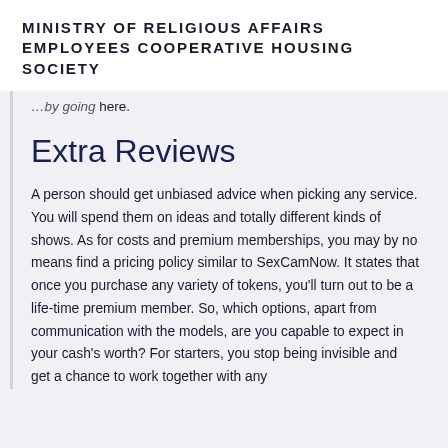MINISTRY OF RELIGIOUS AFFAIRS EMPLOYEES COOPERATIVE HOUSING SOCIETY
…by going here.
Extra Reviews
A person should get unbiased advice when picking any service. You will spend them on ideas and totally different kinds of shows. As for costs and premium memberships, you may by no means find a pricing policy similar to SexCamNow. It states that once you purchase any variety of tokens, you'll turn out to be a life-time premium member. So, which options, apart from communication with the models, are you capable to expect in your cash's worth? For starters, you stop being invisible and get a chance to work together with any